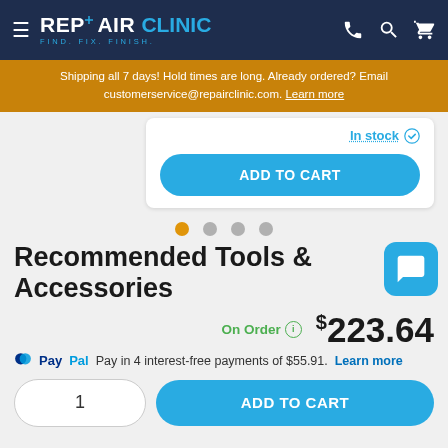REPAIR CLINIC - FIND. FIX. FINISH.
Shipping all 7 days! Hold times are long. Already ordered? Email customerservice@repairclinic.com. Learn more
[Figure (screenshot): Partial product card with In Stock label and ADD TO CART button]
[Figure (infographic): Carousel navigation dots: 4 dots, first is orange/active, rest are grey]
Recommended Tools & Accessories
On Order  $223.64
PayPal Pay in 4 interest-free payments of $55.91. Learn more
1  ADD TO CART